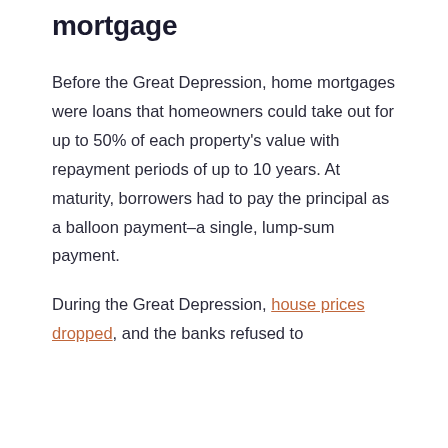mortgage
Before the Great Depression, home mortgages were loans that homeowners could take out for up to 50% of each property's value with repayment periods of up to 10 years. At maturity, borrowers had to pay the principal as a balloon payment–a single, lump-sum payment.
During the Great Depression, house prices dropped, and the banks refused to allow refinancing so the loans had to be repaid.